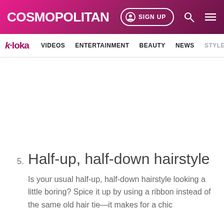COSMOPOLITAN | SIGN UP
k·loka  VIDEOS  ENTERTAINMENT  BEAUTY  NEWS  STYLE
5. Half-up, half-down hairstyle
Is your usual half-up, half-down hairstyle looking a little boring? Spice it up by using a ribbon instead of the same old hair tie—it makes for a chic